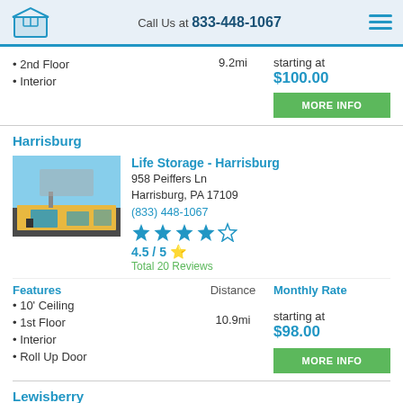Call Us at 833-448-1067
2nd Floor
Interior
9.2mi
starting at $100.00
Harrisburg
Life Storage - Harrisburg
958 Peiffers Ln
Harrisburg, PA 17109
(833) 448-1067
4.5 / 5 ⭐
Total 20 Reviews
Features
Distance
Monthly Rate
10' Ceiling
1st Floor
Interior
Roll Up Door
10.9mi
starting at $98.00
Lewisberry